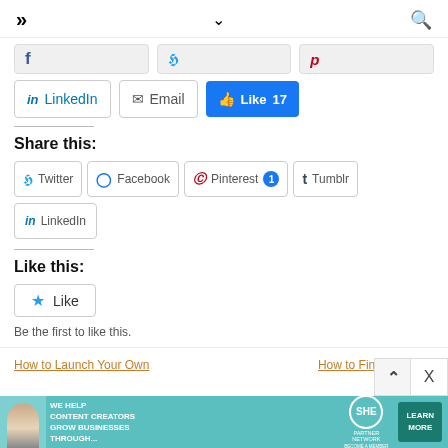>> ∨ 🔍
[Figure (screenshot): Partial social share buttons (Facebook, Twitter, Pinterest) partially visible at top]
[Figure (screenshot): Social share buttons row: LinkedIn button, Email button, Facebook Like button showing count 17]
Share this:
[Figure (screenshot): Share buttons: Twitter, Facebook, Pinterest (with badge 1), Tumblr, LinkedIn]
Like this:
[Figure (screenshot): WordPress Like button widget with star icon]
Be the first to like this.
How to Launch Your Own    How to Find Business
[Figure (infographic): SHE Media Partner Network advertisement banner with text: WE HELP CONTENT CREATORS GROW BUSINESSES THROUGH... LEARN MORE BECOME A MEMBER]